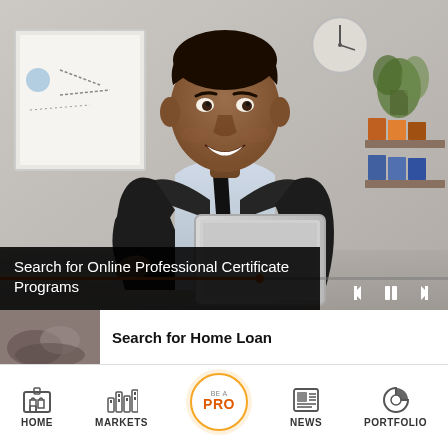[Figure (screenshot): Video player showing a smiling Black man in a dark suit holding a tablet, in an office setting with a whiteboard on the left and shelves on the right. A progress bar and media controls are visible at the bottom.]
Search for Online Professional Certificate Programs
[Figure (photo): Thumbnail image for article about home loans, showing hands in business context]
Search for Home Loan
HOME   MARKETS   BE A PRO   NEWS   PORTFOLIO